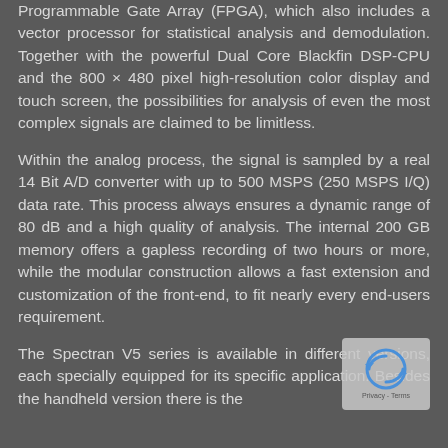Programmable Gate Array (FPGA), which also includes a vector processor for statistical analysis and demodulation. Together with the powerful Dual Core Blackfin DSP-CPU and the 800 × 480 pixel high-resolution color display and touch screen, the possibilities for analysis of even the most complex signals are claimed to be limitless.
Within the analog process, the signal is sampled by a real 14 Bit A/D converter with up to 500 MSPS (250 MSPS I/Q) data rate. This process always ensures a dynamic range of 80 dB and a high quality of analysis. The internal 200 GB memory offers a gapless recording of two hours or more, while the modular construction allows a fast extension and customization of the front-end, to fit nearly every end-users requirement.
The Spectran V5 series is available in different versions, each specially equipped for its specific application. Besides the handheld version there is the
[Figure (other): reCAPTCHA privacy badge/widget overlay in bottom-right corner of the page]